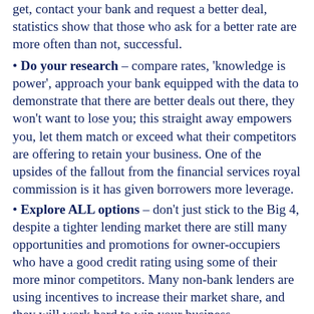get, contact your bank and request a better deal, statistics show that those who ask for a better rate are more often than not, successful.
Do your research – compare rates, 'knowledge is power', approach your bank equipped with the data to demonstrate that there are better deals out there, they won't want to lose you; this straight away empowers you, let them match or exceed what their competitors are offering to retain your business. One of the upsides of the fallout from the financial services royal commission is it has given borrowers more leverage.
Explore ALL options – don't just stick to the Big 4, despite a tighter lending market there are still many opportunities and promotions for owner-occupiers who have a good credit rating using some of their more minor competitors. Many non-bank lenders are using incentives to increase their market share, and they will work hard to win your business.